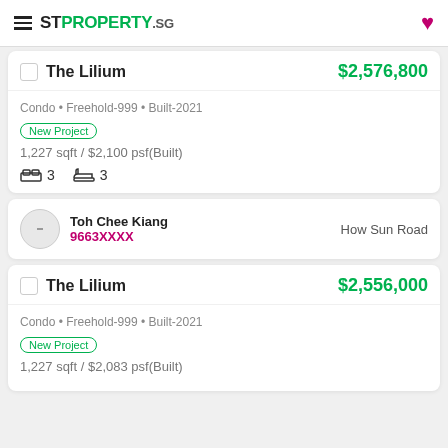STPROPERTY.sg
The Lilium
$2,576,800
Condo • Freehold-999 • Built-2021
New Project
1,227 sqft / $2,100 psf(Built)
3  3
Toh Chee Kiang
9663XXXX
How Sun Road
The Lilium
$2,556,000
Condo • Freehold-999 • Built-2021
New Project
1,227 sqft / $2,083 psf(Built)